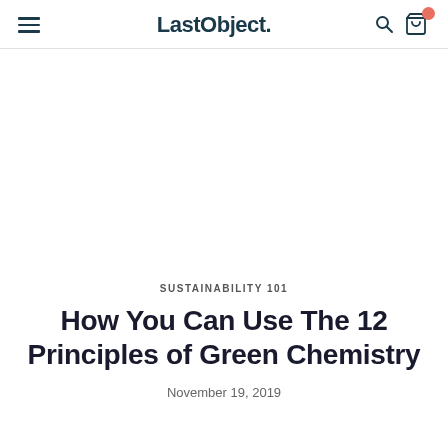LastObject.
[Figure (other): Large white/blank hero image area]
SUSTAINABILITY 101
How You Can Use The 12 Principles of Green Chemistry
November 19, 2019